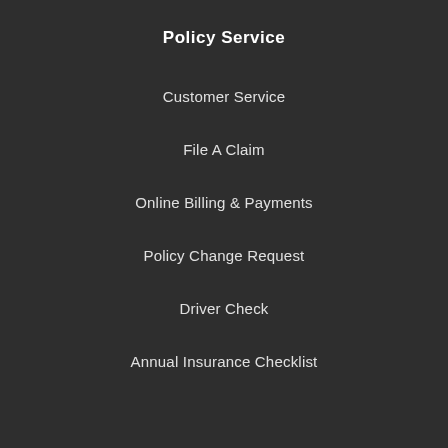Policy Service
Customer Service
File A Claim
Online Billing & Payments
Policy Change Request
Driver Check
Annual Insurance Checklist